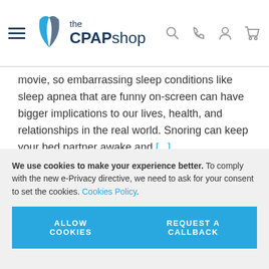the CPAP shop
movie, so embarrassing sleep conditions like sleep apnea that are funny on-screen can have bigger implications to our lives, health, and relationships in the real world. Snoring can keep your bed partner awake and [...]
We use cookies to make your experience better. To comply with the new e-Privacy directive, we need to ask for your consent to set the cookies. Cookies Policy.